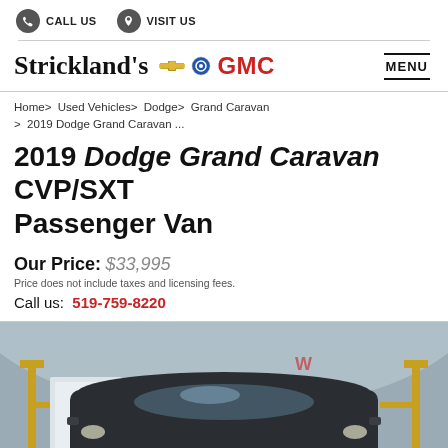CALL US   VISIT US
Strickland's Chevrolet Buick GMC
MENU
Home > Used Vehicles > Dodge > Grand Caravan > 2019 Dodge Grand Caravan ...
2019 Dodge Grand Caravan CVP/SXT Passenger Van
Our Price: $33,995
Price does not include taxes and licensing fees.
Call us: 519-759-8220
[Figure (photo): Dark-colored Dodge Grand Caravan minivan photographed inside a garage/tent structure with yellow framing, grey walls, and overhead lighting.]